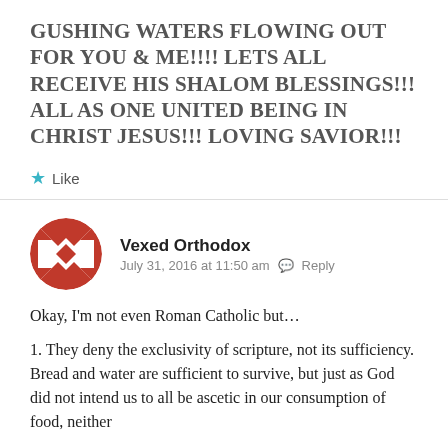GUSHING WATERS FLOWING OUT FOR YOU & ME!!!! LETS ALL RECEIVE HIS SHALOM BLESSINGS!!! ALL AS ONE UNITED BEING IN CHRIST JESUS!!! LOVING SAVIOR!!!
★ Like
Vexed Orthodox
July 31, 2016 at 11:50 am  Reply
Okay, I'm not even Roman Catholic but…
1. They deny the exclusivity of scripture, not its sufficiency. Bread and water are sufficient to survive, but just as God did not intend us to all be ascetic in our consumption of food, neither